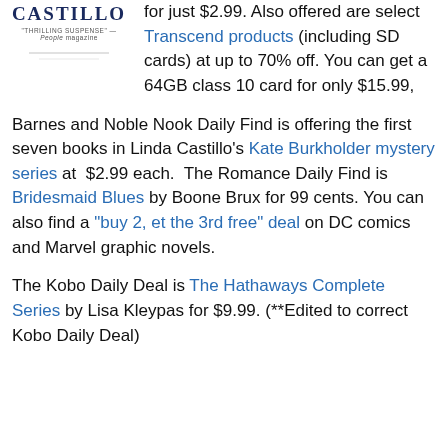[Figure (illustration): Book cover for Linda Castillo's book showing 'CASTILLO' text and tagline 'THRILLING SUSPENSE - People magazine']
for just $2.99. Also offered are select Transcend products (including SD cards) at up to 70% off. You can get a 64GB class 10 card for only $15.99,
Barnes and Noble Nook Daily Find is offering the first seven books in Linda Castillo's Kate Burkholder mystery series at $2.99 each. The Romance Daily Find is Bridesmaid Blues by Boone Brux for 99 cents. You can also find a "buy 2, et the 3rd free" deal on DC comics and Marvel graphic novels.
The Kobo Daily Deal is The Hathaways Complete Series by Lisa Kleypas for $9.99. (**Edited to correct Kobo Daily Deal)